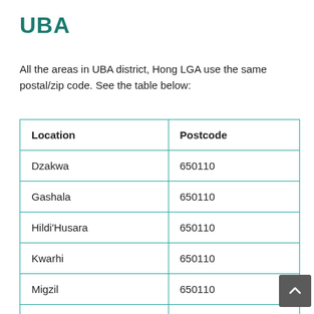UBA
All the areas in UBA district, Hong LGA use the same postal/zip code. See the table below:
| Location | Postcode |
| --- | --- |
| Dzakwa | 650110 |
| Gashala | 650110 |
| Hildi'Husara | 650110 |
| Kwarhi | 650110 |
| Migzil | 650110 |
| Mukuving | 650110 |